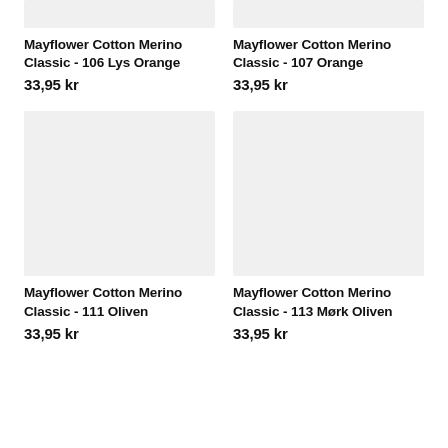[Figure (photo): Product image placeholder for Mayflower Cotton Merino Classic 106 Lys Orange, light gray rectangle]
[Figure (photo): Product image placeholder for Mayflower Cotton Merino Classic 107 Orange, light gray rectangle]
Mayflower Cotton Merino Classic - 106 Lys Orange
33,95 kr
Mayflower Cotton Merino Classic - 107 Orange
33,95 kr
[Figure (photo): Product image placeholder for Mayflower Cotton Merino Classic 111 Oliven, light gray rectangle]
[Figure (photo): Product image placeholder for Mayflower Cotton Merino Classic 113 Mørk Oliven, light gray rectangle]
Mayflower Cotton Merino Classic - 111 Oliven
33,95 kr
Mayflower Cotton Merino Classic - 113 Mørk Oliven
33,95 kr